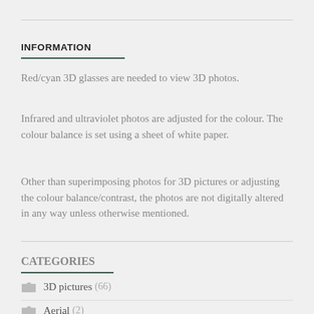INFORMATION
Red/cyan 3D glasses are needed to view 3D photos.
Infrared and ultraviolet photos are adjusted for the colour. The colour balance is set using a sheet of white paper.
Other than superimposing photos for 3D pictures or adjusting the colour balance/contrast, the photos are not digitally altered in any way unless otherwise mentioned.
CATEGORIES
3D pictures (66)
Aerial (2)